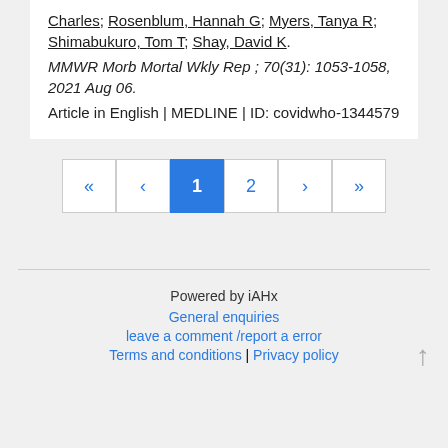Charles; Rosenblum, Hannah G; Myers, Tanya R; Shimabukuro, Tom T; Shay, David K. MMWR Morb Mortal Wkly Rep ; 70(31): 1053-1058, 2021 Aug 06. Article in English | MEDLINE | ID: covidwho-1344579
Pagination: « ‹ 1 2 › »
Powered by iAHx | General enquiries | leave a comment /report a error | Terms and conditions | Privacy policy